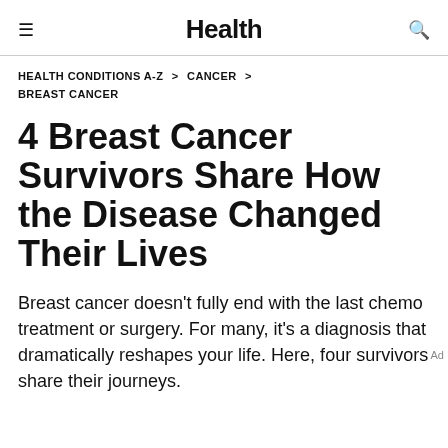Health
HEALTH CONDITIONS A-Z > CANCER >
BREAST CANCER
4 Breast Cancer Survivors Share How the Disease Changed Their Lives
Breast cancer doesn't fully end with the last chemo treatment or surgery. For many, it's a diagnosis that dramatically reshapes your life. Here, four survivors share their journeys.